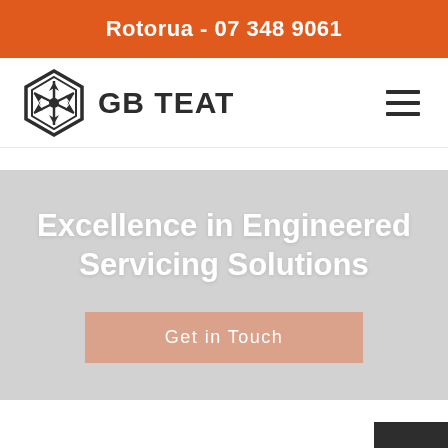Rotorua - 07 348 9061
[Figure (logo): GB Teat hexagonal logo with compass-like arrows icon and text 'GB TEAT']
Excellence in Engineered Servicing Solutions
Get in Touch
GB Teat Service &